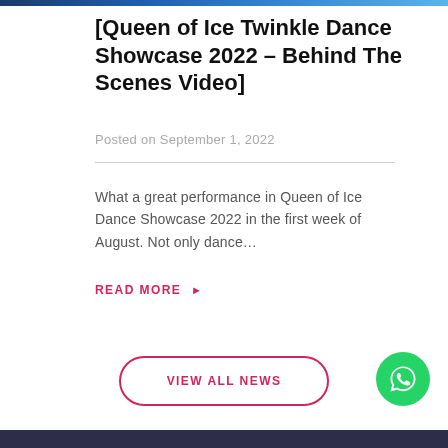[Queen of Ice Twinkle Dance Showcase 2022 – Behind The Scenes Video]
Posted on September 1, 2022
What a great performance in Queen of Ice Dance Showcase 2022 in the first week of August. Not only dance…
READ MORE ▶
VIEW ALL NEWS